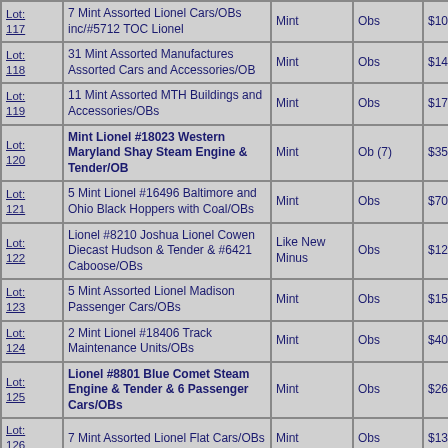| Lot | Description | Condition | Box | Price |
| --- | --- | --- | --- | --- |
| Lot: 117 | 7 Mint Assorted Lionel Cars/OBs inc/#5712 TOC Lionel | Mint | Obs | $100.00 |
| Lot: 118 | 31 Mint Assorted Manufactures Assorted Cars and Accessories/OB | Mint | Obs | $140.00 |
| Lot: 119 | 11 Mint Assorted MTH Buildings and Accessories/OBs | Mint | Obs | $170.00 |
| Lot: 120 | Mint Lionel #18023 Western Maryland Shay Steam Engine & Tender/OB | Mint | Ob (7) | $350.00 |
| Lot: 121 | 5 Mint Lionel #16496 Baltimore and Ohio Black Hoppers with Coal/OBs | Mint | Obs | $70.00 |
| Lot: 122 | Lionel #8210 Joshua Lionel Cowen Diecast Hudson & Tender & #6421 Caboose/OBs | Like New Minus | Obs | $120.00 |
| Lot: 123 | 5 Mint Assorted Lionel Madison Passenger Cars/OBs | Mint | Obs | $150.00 |
| Lot: 124 | 2 Mint Lionel #18406 Track Maintenance Units/OBs | Mint | Obs | $40.00 |
| Lot: 125 | Lionel #8801 Blue Comet Steam Engine & Tender & 6 Passenger Cars/OBs | Mint | Obs | $260.00 |
| Lot: 126 | 7 Mint Assorted Lionel Flat Cars/OBs | Mint | Obs | $130.00 |
| Lot: 127 | 5 Mint Assorted Lionel Baltimore and Ohio Passenger Cars/OBs | Mint | Obs | $65.00 |